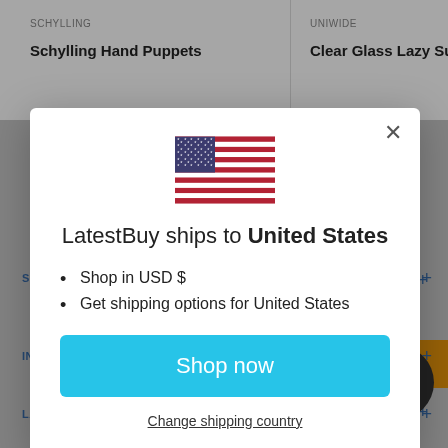SCHYLLING
Schylling Hand Puppets
UNIWIDE
Clear Glass Lazy Susa
[Figure (screenshot): Modal dialog on a shopping website. Contains US flag, heading 'LatestBuy ships to United States', bullet points about USD and shipping options, a 'Shop now' cyan button, and a 'Change shipping country' underlined link. Has a close (×) button.]
LatestBuy ships to United States
Shop in USD $
Get shipping options for United States
Shop now
Change shipping country
LATESTBUY